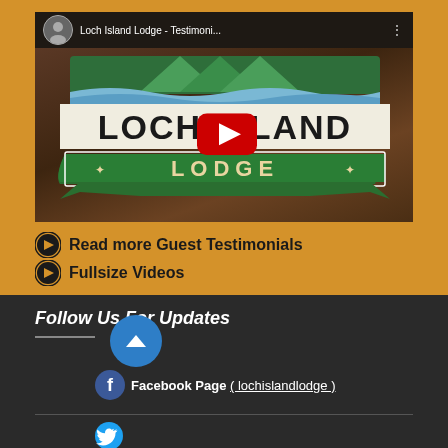[Figure (screenshot): YouTube video thumbnail for Loch Island Lodge testimonial video showing lodge sign on wooden background with red play button overlay and video title bar at top]
Read more Guest Testimonials
Fullsize Videos
Follow Us For Updates
Facebook Page ( lochislandlodge )